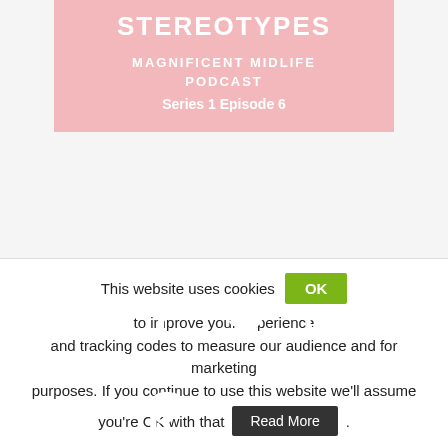[Figure (infographic): Podcast cover card for Magnificent Midlife Podcast - Stereotypes, Series 1 Episode 6, pink background with white text]
[Figure (infographic): Social media share icons: Facebook (blue), Twitter (light blue), Google+ (red), LinkedIn (dark blue), Pinterest (red)]
This website uses cookies OK to improve your experience and tracking codes to measure our audience and for marketing purposes. If you continue to use this website we'll assume you're OK with that Read More .